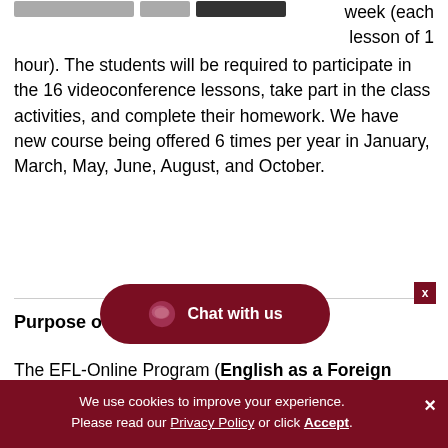[Figure (screenshot): Partial top area showing cropped image thumbnails (navigation/course images) at the top left, partially cut off]
week (each lesson of 1 hour). The students will be required to participate in the 16 videoconference lessons, take part in the class activities, and complete their homework. We have new course being offered 6 times per year in January, March, May, June, August, and October.
Purpose of the EFL O...
The EFL-Online Program (English as a Foreign
[Figure (other): Dark red rounded chat button with speech bubble icon and text 'Chat with us', plus a small dark red X close button]
We use cookies to improve your experience. Please read our Privacy Policy or click Accept.